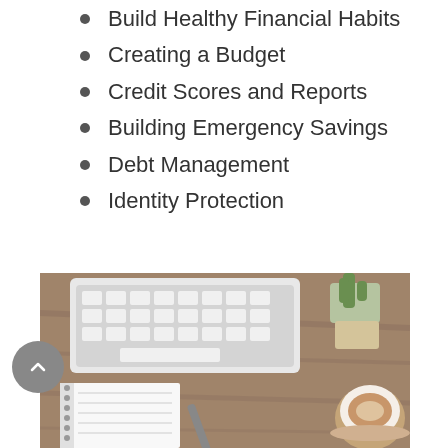Build Healthy Financial Habits
Creating a Budget
Credit Scores and Reports
Building Emergency Savings
Debt Management
Identity Protection
[Figure (photo): Overhead view of a wooden desk with a white keyboard, small cactus plant, spiral notebook, pen, and a cup of coffee with latte art]